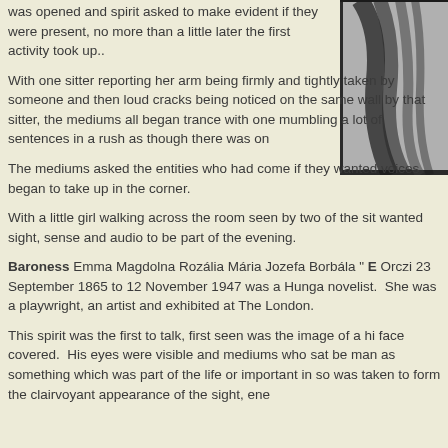was opened and spirit asked to make evident if they were present, no more than a little later the first activity took up..
[Figure (photo): Black and white partial photo of a person, cropped to show hair/side of face, positioned top-right corner]
With one sitter reporting her arm being firmly and tightly taken by someone and then loud cracks being noticed on the same wall by that sitter, the mediums all began trance with one mumbling a lot of sentences in a rush as though there was on
The mediums asked the entities who had come if they wanted voices began to take up in the corner.
With a little girl walking across the room seen by two of the sit wanted sight, sense and audio to be part of the evening.
Baroness Emma Magdolna Rozália Mária Jozefa Borbála " E Orczi 23 September 1865 to 12 November 1947 was a Hunga novelist. She was a playwright, an artist and exhibited at The London.
This spirit was the first to talk, first seen was the image of a hi face covered. His eyes were visible and mediums who sat be man as something which was part of the life or important in so was taken to form the clairvoyant appearance of the sight, ene